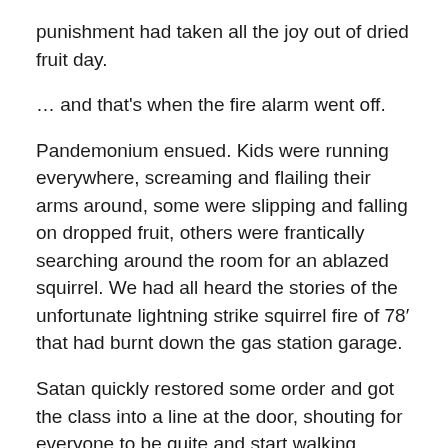punishment had taken all the joy out of dried fruit day.
… and that's when the fire alarm went off.
Pandemonium ensued. Kids were running everywhere, screaming and flailing their arms around, some were slipping and falling on dropped fruit, others were frantically searching around the room for an ablazed squirrel. We had all heard the stories of the unfortunate lightning strike squirrel fire of 78′ that had burnt down the gas station garage.
Satan quickly restored some order and got the class into a line at the door, shouting for everyone to be quite and start walking towards the playground.
That's when Bobby Greggor (I will remember that saint of a boy's name until the day I die) waived his hand and